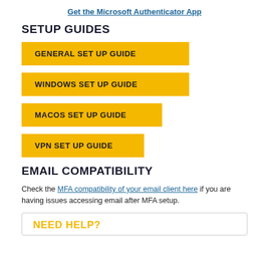Get the Microsoft Authenticator App
SETUP GUIDES
GENERAL SET UP GUIDE
WINDOWS SET UP GUIDE
MACOS SET UP GUIDE
VPN SET UP GUIDE
EMAIL COMPATIBILITY
Check the MFA compatibility of your email client here if you are having issues accessing email after MFA setup.
NEED HELP?